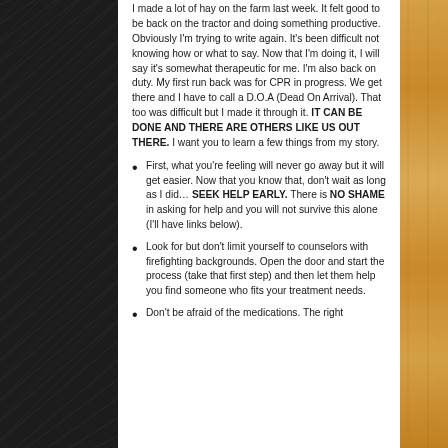I made a lot of hay on the farm last week. It felt good to be back on the tractor and doing something productive. Obviously I'm trying to write again. It's been difficult not knowing how or what to say. Now that I'm doing it, I will say it's somewhat therapeutic for me. I'm also back on duty. My first run back was for CPR in progress. We get there and I have to call a D.O.A (Dead On Arrival). That too was difficult but I made it through it. IT CAN BE DONE AND THERE ARE OTHERS LIKE US OUT THERE. I want you to learn a few things from my story.
First, what you're feeling will never go away but it will get easier. Now that you know that, don't wait as long as I did… SEEK HELP EARLY. There is NO SHAME in asking for help and you will not survive this alone (I'll have links below).
Look for but don't limit yourself to counselors with firefighting backgrounds. Open the door and start the process (take that first step) and then let them help you find someone who fits your treatment needs.
Don't be afraid of the medications. The right